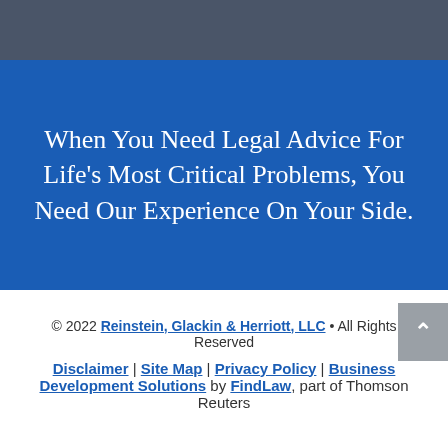[Figure (photo): Dark photographic background banner at top of page]
When You Need Legal Advice For Life’s Most Critical Problems, You Need Our Experience On Your Side.
© 2022 Reinstein, Glackin & Herriott, LLC • All Rights Reserved
Disclaimer | Site Map | Privacy Policy | Business Development Solutions by FindLaw, part of Thomson Reuters